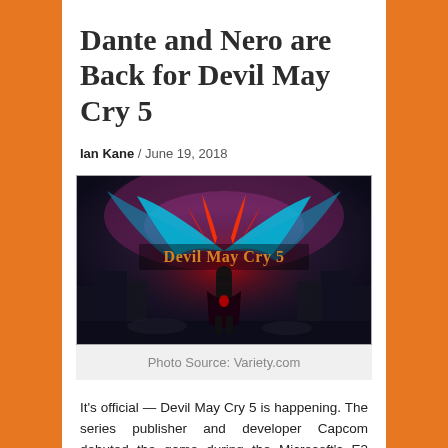Dante and Nero are Back for Devil May Cry 5
Ian Kane / June 19, 2018
[Figure (photo): Devil May Cry 5 promotional art showing a silhouetted character standing with red and teal wing-like energy behind them, with the game title displayed in gothic lettering]
Photo Source: Variety.com
It's official — Devil May Cry 5 is happening. The series publisher and developer Capcom debuted the game during the Microsoft's E3 2018 press